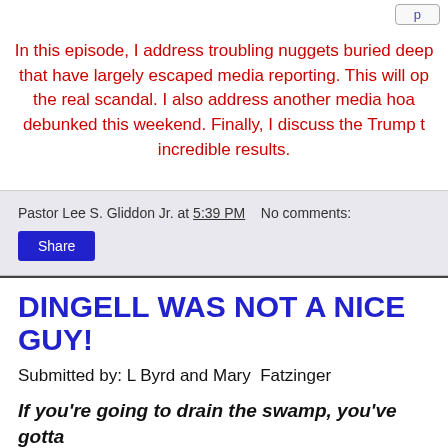In this episode, I address troubling nuggets buried deep that have largely escaped media reporting. This will op the real scandal. I also address another media hoa debunked this weekend. Finally, I discuss the Trump t incredible results.
Pastor Lee S. Gliddon Jr. at 5:39 PM   No comments:
Share
DINGELL WAS NOT A NICE GUY!
Submitted by: L Byrd and Mary  Fatzinger
If you're going to drain the swamp, you've gotta call it out.